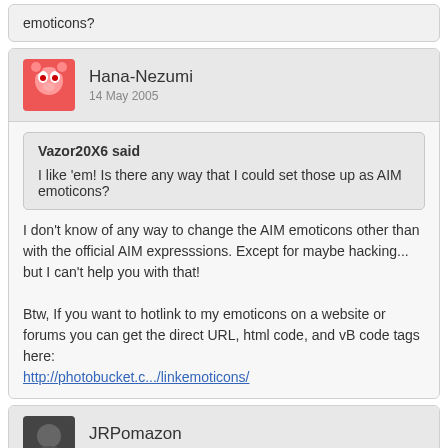emoticons?
Hana-Nezumi
14 May 2005
Vazor20X6 said
I like 'em! Is there any way that I could set those up as AIM emoticons?
I don't know of any way to change the AIM emoticons other than with the official AIM expresssions. Except for maybe hacking... but I can't help you with that!

Btw, If you want to hotlink to my emoticons on a website or forums you can get the direct URL, html code, and vB code tags here:
http://photobucket.c.../linkemoticons/
JRPomazon
14 May 2005
Some get a admin over here! We need these icons NOW.
NightStar
15 May 2005